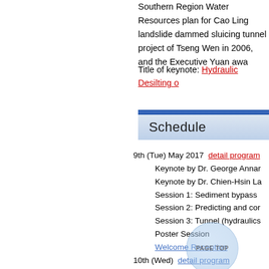Southern Region Water Resources plan for Cao Ling landslide dammed sluicing tunnel project of Tseng Wen in 2006, and the Executive Yuan awa
Title of keynote: Hydraulic Desilting o
Schedule
9th (Tue) May 2017  detail program
Keynote by Dr. George Annar
Keynote by Dr. Chien-Hsin La
Session 1: Sediment bypass
Session 2: Predicting and cor
Session 3: Tunnel (hydraulics
Poster Session
Welcome Reception
10th (Wed)  detail program
Session 4: Bedload monitorin
Session 5: Downstream aspe
Session 6: Operation and env
Poster Session
Move to Hirugami Hot Springs
11th (Thu)
Visit Matsukawa and Kochibu